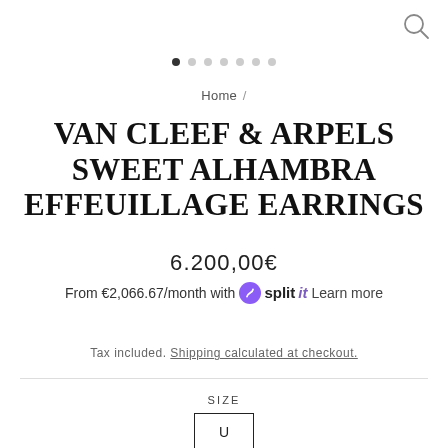[Figure (other): Search icon (magnifying glass) in top right corner]
[Figure (other): Carousel navigation dots — 7 dots, first one filled/dark, rest light gray]
Home /
VAN CLEEF & ARPELS SWEET ALHAMBRA EFFEUILLAGE EARRINGS
6.200,00€
From €2,066.67/month with Splitit Learn more
Tax included. Shipping calculated at checkout.
SIZE
U